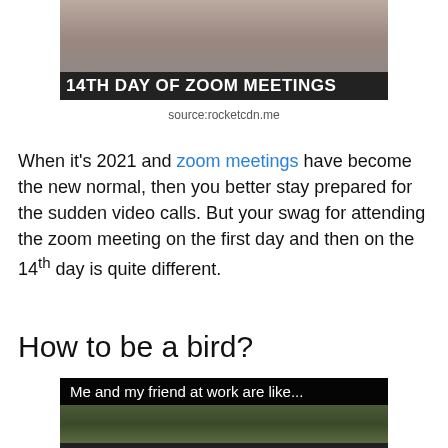[Figure (photo): Meme image with text overlay reading '14TH DAY OF ZOOM MEETINGS' on a dark semi-transparent background, showing people making selfie poses]
source:rocketcdn.me
When it's 2021 and zoom meetings have become the new normal, then you better stay prepared for the sudden video calls. But your swag for attending the zoom meeting on the first day and then on the 14th day is quite different.
How to be a bird?
[Figure (photo): Meme image with dark header text 'Me and my friend at work are like...' followed by a scene of people in tall grass/corn field]